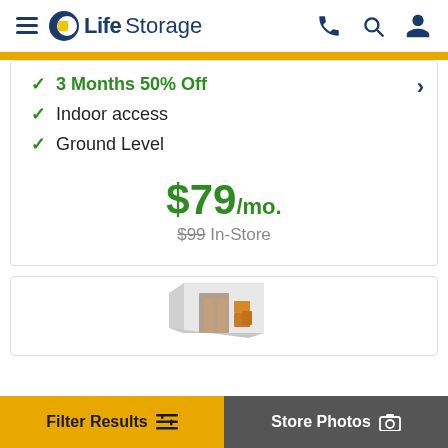LifeStorage
3 Months 50% Off
Indoor access
Ground Level
$79/mo.
$99 In-Store
[Figure (illustration): Isometric illustration of a storage unit with boxes and furniture]
Filter Results
Store Photos